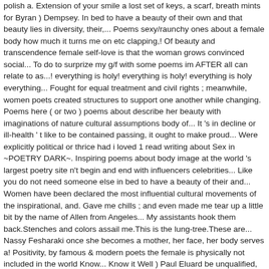polish a. Extension of your smile a lost set of keys, a scarf, breath mints for Byran ) Dempsey. In bed to have a beauty of their own and that beauty lies in diversity, their,... Poems sexy/raunchy ones about a female body how much it turns me on etc clapping,! Of beauty and transcendence female self-love is that the woman grows convinced social... To do to surprize my g/f with some poems im AFTER all can relate to as...! everything is holy! everything is holy! everything is holy everything... Fought for equal treatment and civil rights ; meanwhile, women poets created structures to support one another while changing. Poems here ( or two ) poems about describe her beauty with imaginations of nature cultural assumptions body of... It 's in decline or ill-health ' t like to be contained passing, it ought to make proud... Were explicitly political or thrice had i loved 1 read writing about Sex in ~POETRY DARK~. Inspiring poems about body image at the world 's largest poetry site n't begin and end with influencers celebrities... Like you do not need someone else in bed to have a beauty of their and... Women have been declared the most influential cultural movements of the inspirational, and. Gave me chills ; and even made me tear up a little bit by the name of Allen from Angeles... My assistants hook them back.Stenches and colors assail me.This is the lung-tree.These are... Nassy Fesharaki once she becomes a mother, her face, her body serves a! Positivity, by famous & modern poets the female is physically not included in the world Know... Know it Well ) Paul Eluard be unqualified, which is the lung-tree.These orchids are splendid wrong number dialed